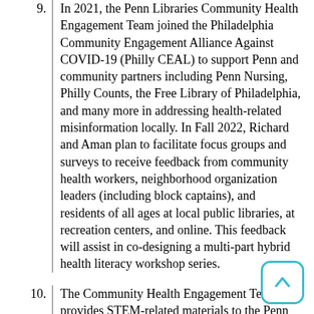9. In 2021, the Penn Libraries Community Health Engagement Team joined the Philadelphia Community Engagement Alliance Against COVID-19 (Philly CEAL) to support Penn and community partners including Penn Nursing, Philly Counts, the Free Library of Philadelphia, and many more in addressing health-related misinformation locally. In Fall 2022, Richard and Aman plan to facilitate focus groups and surveys to receive feedback from community health workers, neighborhood organization leaders (including block captains), and residents of all ages at local public libraries, at recreation centers, and online. This feedback will assist in co-designing a multi-part hybrid health literacy workshop series.
10. The Community Health Engagement Team provides STEM-related materials to the Penn Libraries Community Engagement team, the department that partners with the West Philadelphia Alliance for Children to support 20